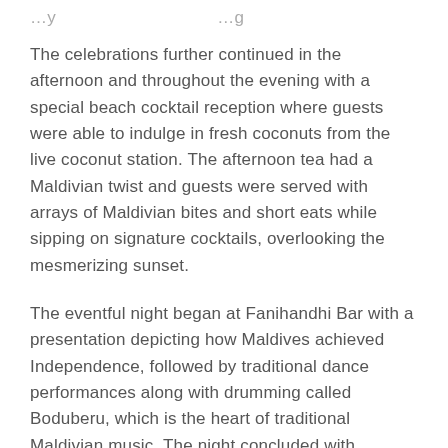…y … …g
The celebrations further continued in the afternoon and throughout the evening with a special beach cocktail reception where guests were able to indulge in fresh coconuts from the live coconut station. The afternoon tea had a Maldivian twist and guests were served with arrays of Maldivian bites and short eats while sipping on signature cocktails, overlooking the mesmerizing sunset.
The eventful night began at Fanihandhi Bar with a presentation depicting how Maldives achieved Independence, followed by traditional dance performances along with drumming called Boduberu, which is the heart of traditional Maldivian music. The night concluded with Musical Night with Cathy, the